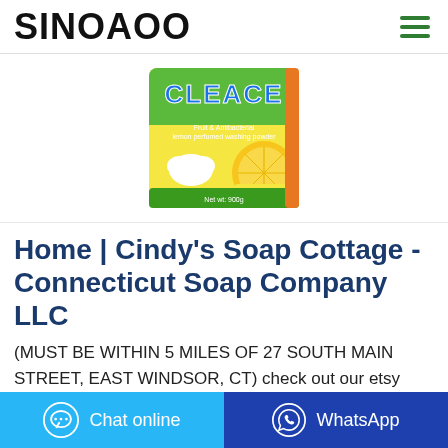SINOAOO
[Figure (photo): Product photo of Cleace Fruit & Antibacterial lemon scented washing powder box with green/yellow branding and lemon imagery]
Home | Cindy's Soap Cottage - Connecticut Soap Company LLC
(MUST BE WITHIN 5 MILES OF 27 SOUTH MAIN STREET, EAST WINDSOR, CT) check out our etsy shop. ©2017 by Cindy's Soap Cottage -